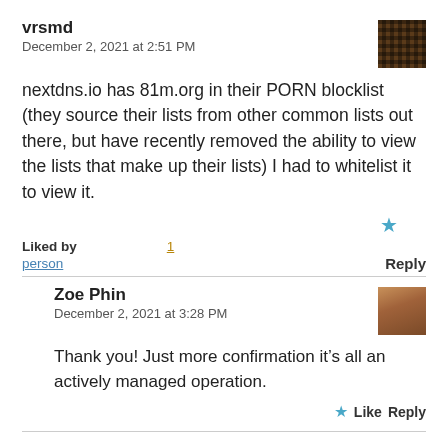vrsmd
December 2, 2021 at 2:51 PM
nextdns.io has 81m.org in their PORN blocklist (they source their lists from other common lists out there, but have recently removed the ability to view the lists that make up their lists) I had to whitelist it to view it.
Liked by
1
person
Reply
Zoe Phin
December 2, 2021 at 3:28 PM
Thank you! Just more confirmation it’s all an actively managed operation.
Like  Reply